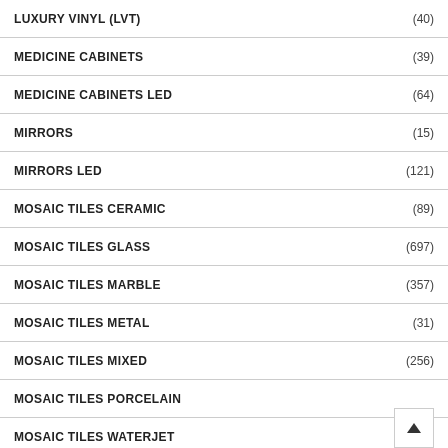LUXURY VINYL (LVT) (40)
MEDICINE CABINETS (39)
MEDICINE CABINETS LED (64)
MIRRORS (15)
MIRRORS LED (121)
MOSAIC TILES CERAMIC (89)
MOSAIC TILES GLASS (697)
MOSAIC TILES MARBLE (357)
MOSAIC TILES METAL (31)
MOSAIC TILES MIXED (256)
MOSAIC TILES PORCELAIN (...)
MOSAIC TILES WATERJET